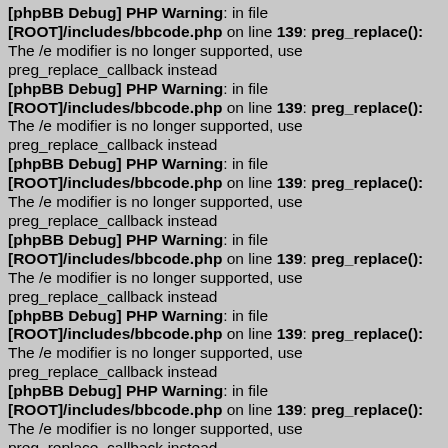[phpBB Debug] PHP Warning: in file [ROOT]/includes/bbcode.php on line 139: preg_replace(): The /e modifier is no longer supported, use preg_replace_callback instead
[phpBB Debug] PHP Warning: in file [ROOT]/includes/bbcode.php on line 139: preg_replace(): The /e modifier is no longer supported, use preg_replace_callback instead
[phpBB Debug] PHP Warning: in file [ROOT]/includes/bbcode.php on line 139: preg_replace(): The /e modifier is no longer supported, use preg_replace_callback instead
[phpBB Debug] PHP Warning: in file [ROOT]/includes/bbcode.php on line 139: preg_replace(): The /e modifier is no longer supported, use preg_replace_callback instead
[phpBB Debug] PHP Warning: in file [ROOT]/includes/bbcode.php on line 139: preg_replace(): The /e modifier is no longer supported, use preg_replace_callback instead
[phpBB Debug] PHP Warning: in file [ROOT]/includes/bbcode.php on line 139: preg_replace(): The /e modifier is no longer supported, use preg_replace_callback instead (partial)